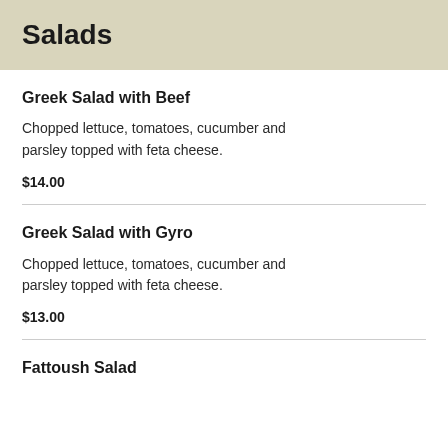Salads
Greek Salad with Beef
Chopped lettuce, tomatoes, cucumber and parsley topped with feta cheese.
$14.00
Greek Salad with Gyro
Chopped lettuce, tomatoes, cucumber and parsley topped with feta cheese.
$13.00
Fattoush Salad